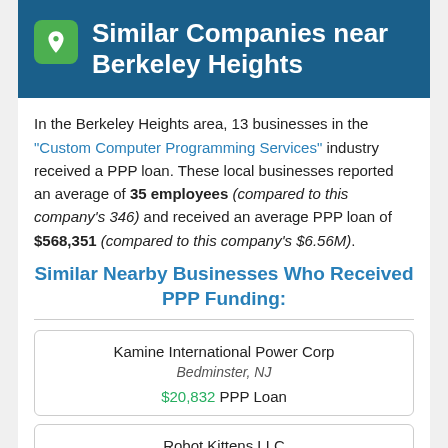Similar Companies near Berkeley Heights
In the Berkeley Heights area, 13 businesses in the "Custom Computer Programming Services" industry received a PPP loan. These local businesses reported an average of 35 employees (compared to this company's 346) and received an average PPP loan of $568,351 (compared to this company's $6.56M).
Similar Nearby Businesses Who Received PPP Funding:
Kamine International Power Corp
Bedminster, NJ
$20,832 PPP Loan
Robot Kittens LLC